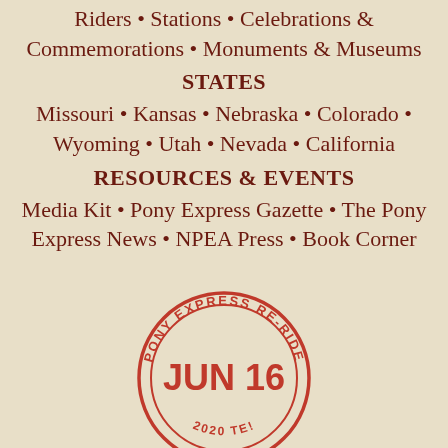Riders • Stations • Celebrations & Commemorations • Monuments & Museums
STATES
Missouri • Kansas • Nebraska • Colorado • Wyoming • Utah • Nevada • California
RESOURCES & EVENTS
Media Kit • Pony Express Gazette • The Pony Express News • NPEA Press • Book Corner
[Figure (illustration): A circular stamp/postmark design in red reading 'PONY EXPRESS RE-RIDE' around the top arc, 'JUN 16' in large bold letters in the center, '2020' at the bottom, and 'TE!' partially visible at the bottom arc.]